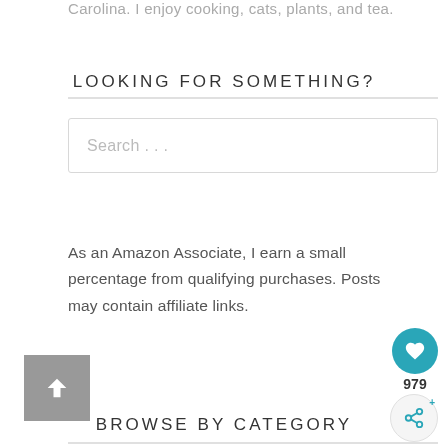Carolina. I enjoy cooking, cats, plants, and tea.
LOOKING FOR SOMETHING?
Search . . .
As an Amazon Associate, I earn a small percentage from qualifying purchases. Posts may contain affiliate links.
BROWSE BY CATEGORY